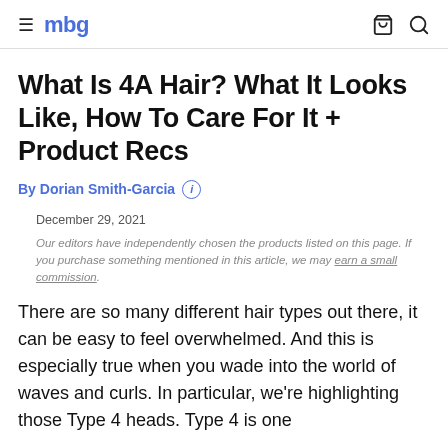mbg
What Is 4A Hair? What It Looks Like, How To Care For It + Product Recs
By Dorian Smith-Garcia
December 29, 2021
Our editors have independently chosen the products listed on this page. If you purchase something mentioned in this article, we may earn a small commission.
There are so many different hair types out there, it can be easy to feel overwhelmed. And this is especially true when you wade into the world of waves and curls. In particular, we're highlighting those Type 4 heads. Type 4 is one